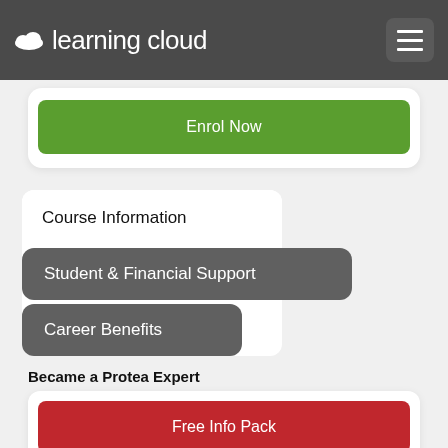learning cloud
Enrol Now
Course Information
Student & Financial Support
Career Benefits
Became a Protea Expert
Free Info Pack
Enquire Now
Enrol Now